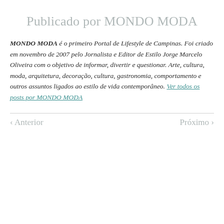Publicado por MONDO MODA
MONDO MODA é o primeiro Portal de Lifestyle de Campinas. Foi criado em novembro de 2007 pelo Jornalista e Editor de Estilo Jorge Marcelo Oliveira com o objetivo de informar, divertir e questionar. Arte, cultura, moda, arquitetura, decoração, cultura, gastronomia, comportamento e outros assuntos ligados ao estilo de vida contemporâneo. Ver todos os posts por MONDO MODA
‹ Anterior    Próximo ›